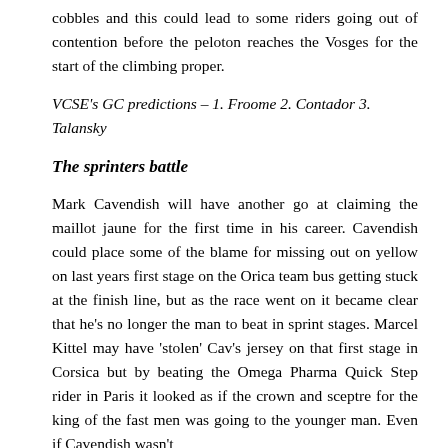cobbles and this could lead to some riders going out of contention before the peloton reaches the Vosges for the start of the climbing proper.
VCSE's GC predictions – 1. Froome 2. Contador 3. Talansky
The sprinters battle
Mark Cavendish will have another go at claiming the maillot jaune for the first time in his career. Cavendish could place some of the blame for missing out on yellow on last years first stage on the Orica team bus getting stuck at the finish line, but as the race went on it became clear that he's no longer the man to beat in sprint stages. Marcel Kittel may have 'stolen' Cav's jersey on that first stage in Corsica but by beating the Omega Pharma Quick Step rider in Paris it looked as if the crown and sceptre for the king of the fast men was going to the younger man. Even if Cavendish wasn't